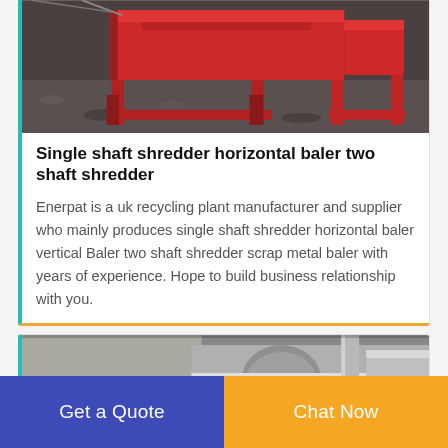[Figure (photo): Red industrial shredder machine outdoors on gravel surface]
Single shaft shredder horizontal baler two shaft shredder
Enerpat is a uk recycling plant manufacturer and supplier who mainly produces single shaft shredder horizontal baler vertical Baler two shaft shredder scrap metal baler with years of experience. Hope to build business relationship with you.
[Figure (photo): Industrial machinery equipment, partial view]
Get a Quote
Chat Now